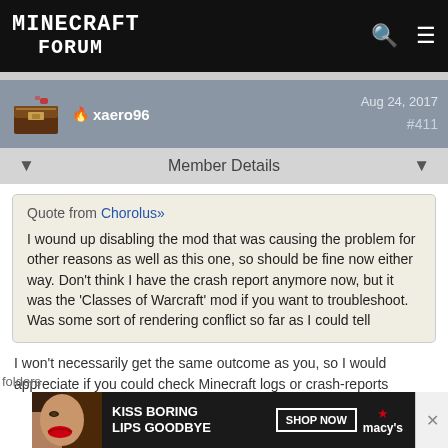MINECRAFT FORUM
xaero96  Aug 24, 2017  #411
Member Details
Quote from Chorolus»

I wound up disabling the mod that was causing the problem for other reasons as well as this one, so should be fine now either way. Don't think I have the crash report anymore now, but it was the 'Classes of Warcraft' mod if you want to troubleshoot. Was some sort of rendering conflict so far as I could tell
I won't necessarily get the same outcome as you, so I would appreciate if you could check Minecraft logs or crash-reports folders
[Figure (screenshot): Advertisement banner: KISS BORING LIPS GOODBYE - SHOP NOW - macys]